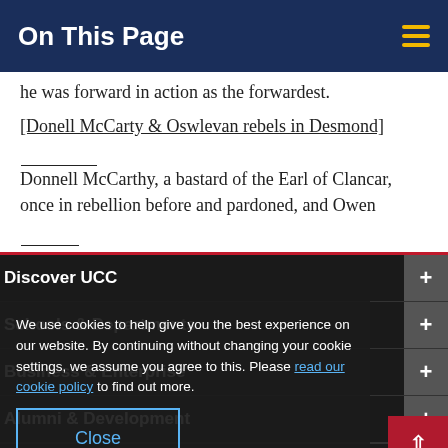On This Page
he was forward in action as the forwardest.
[Donell McCarty & Oswlevan rebels in Desmond] Donnell McCarthy, a bastard of the Earl of Clancar, once in rebellion before and pardoned, and Owen
Discover UCC
Schools & Departments
We use cookies to help give you the best experience on our website. By continuing without changing your cookie settings, we assume you agree to this. Please read our cookie policy to find out more.
Business & Enterprise
Alumni & Development
Close
Home